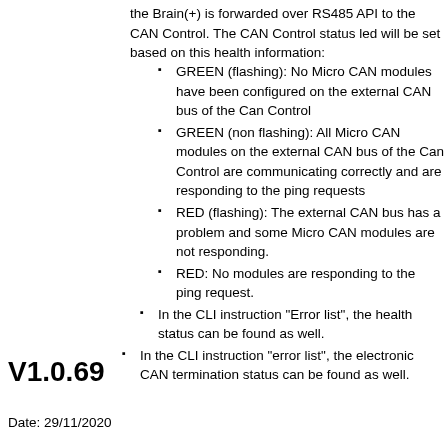the Brain(+) is forwarded over RS485 API to the CAN Control. The CAN Control status led will be set based on this health information:
GREEN (flashing): No Micro CAN modules have been configured on the external CAN bus of the Can Control
GREEN (non flashing): All Micro CAN modules on the external CAN bus of the Can Control are communicating correctly and are responding to the ping requests
RED (flashing): The external CAN bus has a problem and some Micro CAN modules are not responding.
RED: No modules are responding to the ping request.
In the CLI instruction "Error list", the health status can be found as well.
In the CLI instruction "error list", the electronic CAN termination status can be found as well.
V1.0.69
Date: 29/11/2020